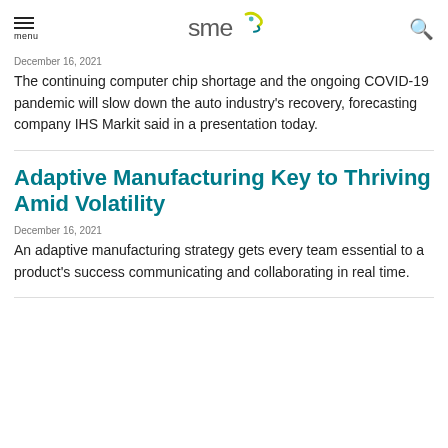menu | SME logo | search
December 16, 2021
The continuing computer chip shortage and the ongoing COVID-19 pandemic will slow down the auto industry's recovery, forecasting company IHS Markit said in a presentation today.
Adaptive Manufacturing Key to Thriving Amid Volatility
December 16, 2021
An adaptive manufacturing strategy gets every team essential to a product's success communicating and collaborating in real time.